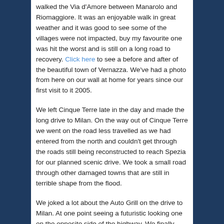walked the Via d'Amore between Manarolo and Riomaggiore. It was an enjoyable walk in great weather and it was good to see some of the villages were not impacted, buy my favourite one was hit the worst and is still on a long road to recovery. Click here to see a before and after of the beautiful town of Vernazza. We've had a photo from here on our wall at home for years since our first visit to it 2005.
We left Cinque Terre late in the day and made the long drive to Milan. On the way out of Cinque Terre we went on the road less travelled as we had entered from the north and couldn't get through the roads still being reconstructed to reach Spezia for our planned scenic drive. We took a small road through other damaged towns that are still in terrible shape from the flood.
We joked a lot about the Auto Grill on the drive to Milan. At one point seeing a futuristic looking one on the opposite side of the highway. We finally found one and had dinner there getting it out of our system and realizing it really isn't all that good. Before reaching Milan we came along the